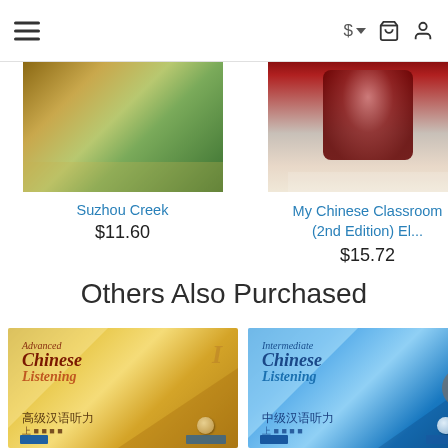Navigation bar with hamburger menu, dollar/currency selector, cart icon, user icon
[Figure (screenshot): Suzhou Creek book cover — partial top image showing greenery and golden tones]
Suzhou Creek
$11.60
[Figure (screenshot): My Chinese Classroom (2nd Edition) book cover — woman reading a red book]
My Chinese Classroom (2nd Edition) El...
$15.72
[Figure (screenshot): Partially visible third book cover — red/orange tones, truncated title 'Chi... Int...']
Others Also Purchased
[Figure (photo): Advanced Chinese Listening I book cover — gold/yellow diagonal design with Chinese text 高级汉语听力]
[Figure (photo): Intermediate Chinese Listening I book cover — blue diagonal design with Chinese text 中级汉语听力]
[Figure (photo): Partially visible third book in bottom carousel — blue tones]